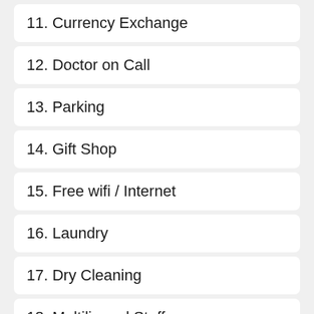11. Currency Exchange
12. Doctor on Call
13. Parking
14. Gift Shop
15. Free wifi / Internet
16. Laundry
17. Dry Cleaning
18. Multilingual Staff
19. Ironing